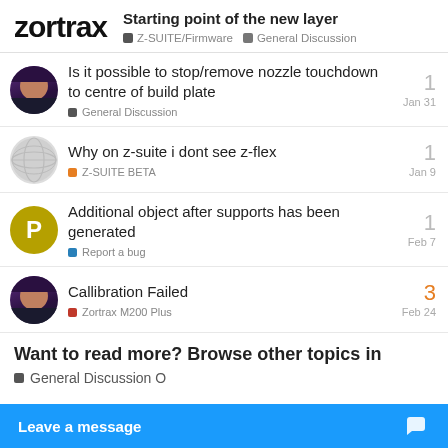zortrax — Starting point of the new layer — Z-SUITE/Firmware — General Discussion
Is it possible to stop/remove nozzle touchdown to centre of build plate — General Discussion — Jan 31 — 1 reply
Why on z-suite i dont see z-flex — Z-SUITE BETA — Jan 9 — 1 reply
Additional object after supports has been generated — Report a bug — Feb 7 — 1 reply
Callibration Failed — Zortrax M200 Plus — Feb 24 — 3 replies
Want to read more? Browse other topics in
General Discussion O...
Leave a message